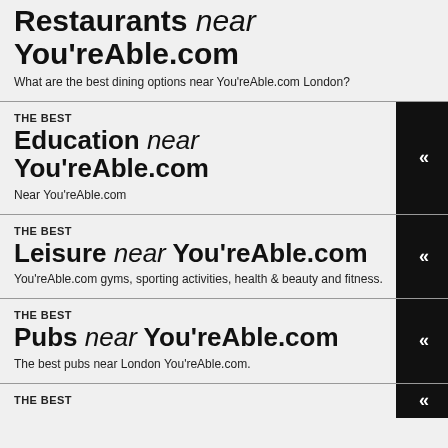Restaurants near You'reAble.com
What are the best dining options near You'reAble.com London?
THE BEST
Education near You'reAble.com
Near You'reAble.com
THE BEST
Leisure near You'reAble.com
You'reAble.com gyms, sporting activities, health & beauty and fitness.
THE BEST
Pubs near You'reAble.com
The best pubs near London You'reAble.com.
THE BEST